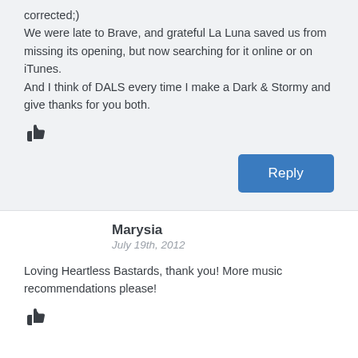corrected;)
We were late to Brave, and grateful La Luna saved us from missing its opening, but now searching for it online or on iTunes.
And I think of DALS every time I make a Dark & Stormy and give thanks for you both.
[Figure (illustration): Thumbs up icon (like button)]
Reply
Marysia
July 19th, 2012
Loving Heartless Bastards, thank you! More music recommendations please!
[Figure (illustration): Thumbs up icon (like button)]